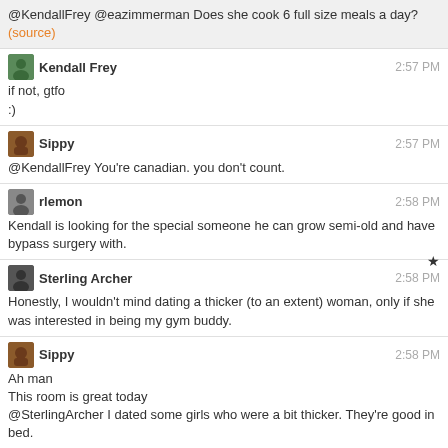@KendallFrey @eazimmerman Does she cook 6 full size meals a day? (source)
Kendall Frey 2:57 PM
if not, gtfo
:)
Sippy 2:57 PM
@KendallFrey You're canadian. you don't count.
rlemon 2:58 PM
Kendall is looking for the special someone he can grow semi-old and have bypass surgery with.
Sterling Archer 2:58 PM
Honestly, I wouldn't mind dating a thicker (to an extent) woman, only if she was interested in being my gym buddy.
Sippy 2:58 PM
Ah man
This room is great today
@SterlingArcher I dated some girls who were a bit thicker. They're good in bed.
eazimmerman 2:58 PM
i'm the cook in my relationship
Sterling Archer 2:58 PM
@rlemon don't lie.. Kendall just wants a raging-semi and access to an old folks home.